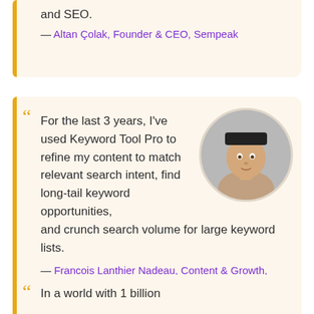and SEO.
— Altan Çolak, Founder & CEO, Sempeak
[Figure (photo): Portrait photo of a young man wearing a black beanie hat, circular crop]
For the last 3 years, I've used Keyword Tool Pro to refine my content to match relevant search intent, find long-tail keyword opportunities, and crunch search volume for large keyword lists.
— Francois Lanthier Nadeau, Content & Growth, Snipcart
In a world with 1 billion